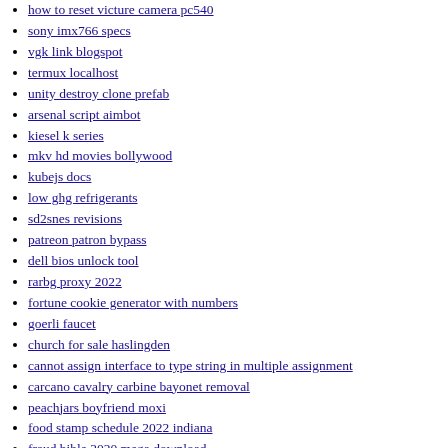how to reset victure camera pc540
sony imx766 specs
vgk link blogspot
termux localhost
unity destroy clone prefab
arsenal script aimbot
kiesel k series
mkv hd movies bollywood
kubejs docs
low ghg refrigerants
sd2snes revisions
patreon patron bypass
dell bios unlock tool
rarbg proxy 2022
fortune cookie generator with numbers
goerli faucet
church for sale haslingden
cannot assign interface to type string in multiple assignment
carcano cavalry carbine bayonet removal
peachjars boyfriend moxi
food stamp schedule 2022 indiana
fraud bible 2020 mega download
1953 ford customline grill
farmers almanac 2023 weather
mini csi 2 connector